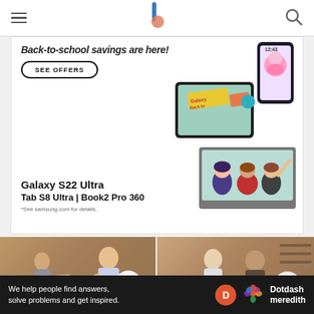Navigation header with hamburger menu, site logo, and search icon
[Figure (screenshot): Samsung Galaxy S22 Ultra, Tab S8 Ultra, Book2 Pro 360 back-to-school savings advertisement with SEE OFFERS button and device images including tablet, phone, and laptop with animated avatars]
Galaxy S22 Ultra
Tab S8 Ultra | Book2 Pro 360
*See samsung.com for details.
[Figure (photo): Person kneeling on floor arranging papers/photos in a creative workspace, with lightbulb icon overlay — Starting a Business category photo]
[Figure (photo): Two men in a retail/workshop environment, with dollar/hand icon overlay — Finance/small business category photo]
STARTING A BUSINESS
We help people find answers, solve problems and get inspired. Dotdash meredith